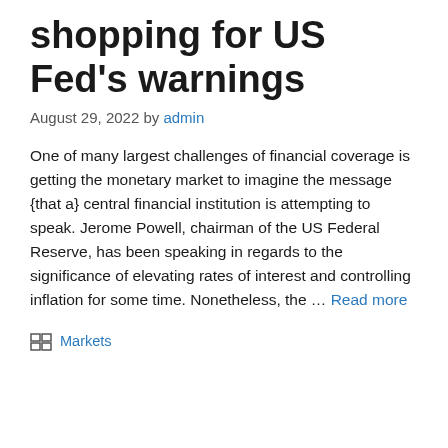shopping for US Fed's warnings
August 29, 2022 by admin
One of many largest challenges of financial coverage is getting the monetary market to imagine the message {that a} central financial institution is attempting to speak. Jerome Powell, chairman of the US Federal Reserve, has been speaking in regards to the significance of elevating rates of interest and controlling inflation for some time. Nonetheless, the … Read more
Markets